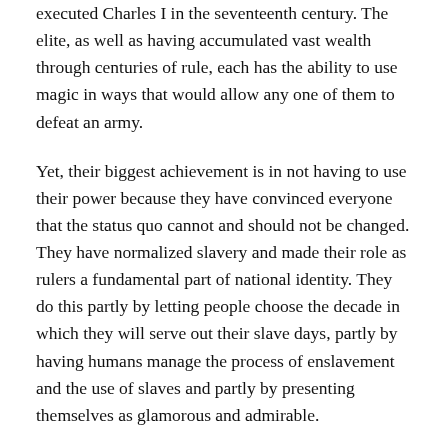executed Charles I in the seventeenth century. The elite, as well as having accumulated vast wealth through centuries of rule, each has the ability to use magic in ways that would allow any one of them to defeat an army.
Yet, their biggest achievement is in not having to use their power because they have convinced everyone that the status quo cannot and should not be changed. They have normalized slavery and made their role as rulers a fundamental part of national identity. They do this partly by letting people choose the decade in which they will serve out their slave days, partly by having humans manage the process of enslavement and the use of slaves and partly by presenting themselves as glamorous and admirable.
For example, to end this alternative Britain, one would...